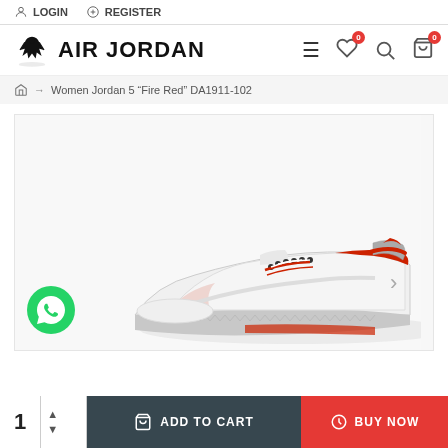LOGIN  REGISTER
AIR JORDAN
Women Jordan 5 "Fire Red" DA1911-102
[Figure (photo): Air Jordan 5 'Fire Red' sneaker in white and red colorway, side view showing upper portion with silver and red accents, white laces, and red heel tab on a light background.]
1  ADD TO CART  BUY NOW